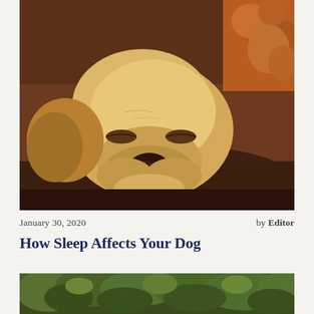[Figure (photo): Close-up photograph of a sleeping yellow Labrador puppy resting its head on a dark brown surface, with an orange stuffed toy visible in the upper right corner.]
January 30, 2020   by Editor
How Sleep Affects Your Dog
[Figure (photo): Partial photograph at bottom showing a green outdoor scene with foliage and ground cover.]